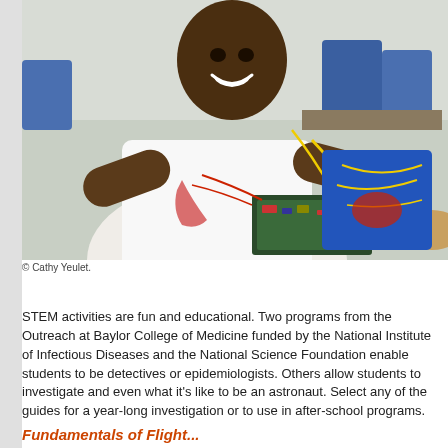[Figure (photo): A smiling student working with electronic components and wires on a circuit board in a classroom setting. The student is wearing a white shirt and appears engaged in a STEM activity.]
© Cathy Yeulet.
STEM activities are fun and educational. Two programs from the Outreach at Baylor College of Medicine funded by the National Institute of Infectious Diseases and the National Science Foundation enable students to be detectives or epidemiologists. Others allow students to investigate and even what it's like to be an astronaut. Select any of the guides for a year-long investigation or to use in after-school programs.
Fundamentals of Flight...